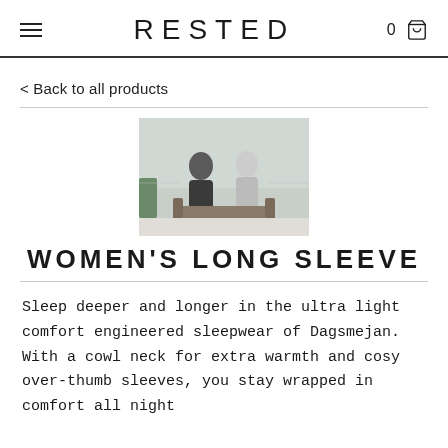RESTED
< Back to all products
[Figure (photo): Two people sitting on outdoor furniture, appearing to be in conversation, with a scenic background.]
WOMEN'S LONG SLEEVE
Sleep deeper and longer in the ultra light comfort engineered sleepwear of Dagsmejan. With a cowl neck for extra warmth and cosy over-thumb sleeves, you stay wrapped in comfort all night